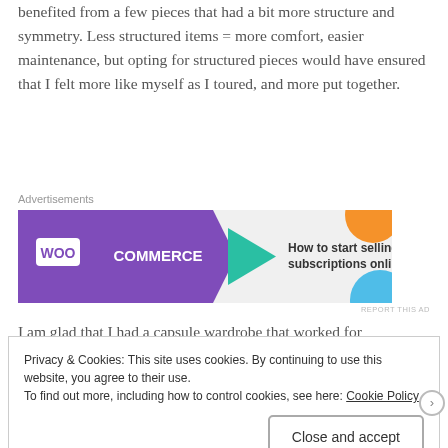benefited from a few pieces that had a bit more structure and symmetry. Less structured items = more comfort, easier maintenance, but opting for structured pieces would have ensured that I felt more like myself as I toured, and more put together.
Advertisements
[Figure (other): WooCommerce advertisement banner: purple background with WooCommerce logo on left, teal arrow shape, text 'How to start selling subscriptions online' on right with orange and blue decorative circles]
I am glad that I had a capsule wardrobe that worked for
Privacy & Cookies: This site uses cookies. By continuing to use this website, you agree to their use.
To find out more, including how to control cookies, see here: Cookie Policy
Close and accept